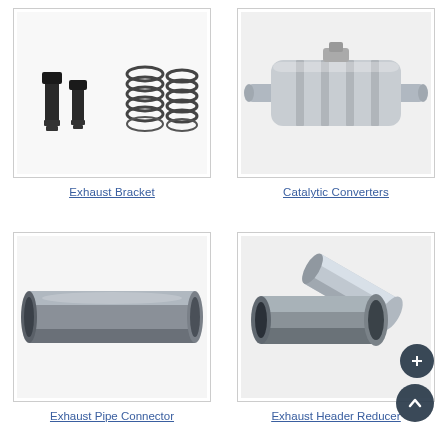[Figure (photo): Exhaust bracket hardware: two bolts and three coil springs on white background]
Exhaust Bracket
[Figure (photo): Catalytic converter, polished metal barrel-shaped unit with inlet and outlet pipes]
Catalytic Converters
[Figure (photo): Exhaust pipe connector, cylindrical steel tube on white background]
Exhaust Pipe Connector
[Figure (photo): Exhaust header reducer, two tapered steel cylindrical reducer fittings]
Exhaust Header Reducer